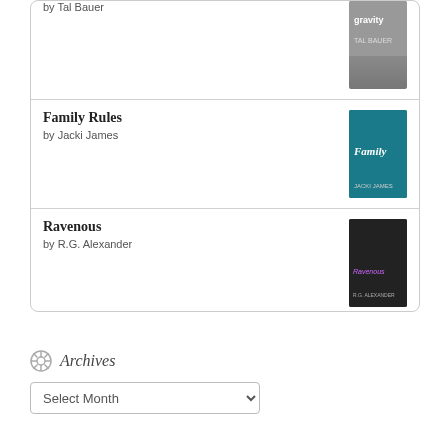by Tal Bauer
Family Rules
by Jacki James
Ravenous
by R.G. Alexander
Tight End
by Lisa Suzanne
[Figure (logo): goodreads logo button]
Archives
Select Month